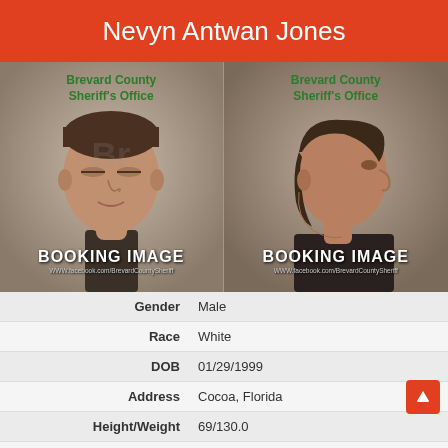Nevyn Antwan Jones
[Figure (photo): Front-facing booking mugshot of Nevyn Antwan Jones, Brevard County Sheriff's Office. Labeled BOOKING IMAGE with URL www.facebook.com/BrevardCountySheriff]
[Figure (photo): Side-profile booking mugshot of Nevyn Antwan Jones, Brevard County Sheriff's Office. Labeled BOOKING IMAGE with URL www.facebook.com/BrevardCountySheriff]
| Field | Value |
| --- | --- |
| Gender | Male |
| Race | White |
| DOB | 01/29/1999 |
| Address | Cocoa, Florida |
| Height/Weight | 69/130.0 |
| Arrest Date/Time | 2/23/2021 1:11 pm |